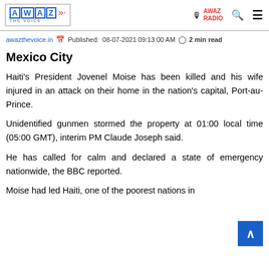AWAZ THE VOICE | AWAZ RADIO
awazthevoice.in  Published: 08-07-2021 09:13:00 AM  2 min read
Mexico City
Haiti's President Jovenel Moise has been killed and his wife injured in an attack on their home in the nation's capital, Port-au-Prince.
Unidentified gunmen stormed the property at 01:00 local time (05:00 GMT), interim PM Claude Joseph said.
He has called for calm and declared a state of emergency nationwide, the BBC reported.
Moise had led Haiti, one of the poorest nations in